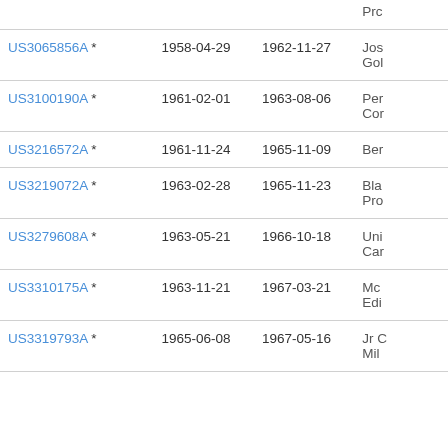| Patent | Filed | Published | Assignee |
| --- | --- | --- | --- |
| (partial top) |  |  | Pro… |
| US3065856A * | 1958-04-29 | 1962-11-27 | Jos… Gol… |
| US3100190A * | 1961-02-01 | 1963-08-06 | Per… Cor… |
| US3216572A * | 1961-11-24 | 1965-11-09 | Ber… |
| US3219072A * | 1963-02-28 | 1965-11-23 | Bla… Pro… |
| US3279608A * | 1963-05-21 | 1966-10-18 | Uni… Car… |
| US3310175A * | 1963-11-21 | 1967-03-21 | Mc… Edi… |
| US3319793A * | 1965-06-08 | 1967-05-16 | Jr C… Mil… |
| (partial bottom) |  |  |  |